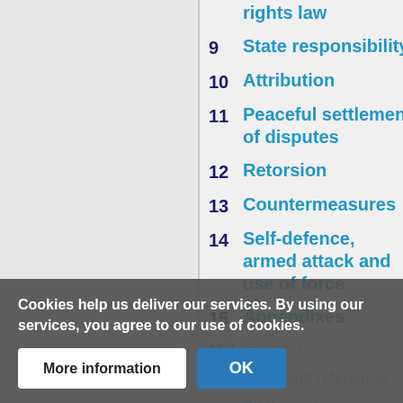rights law
9  State responsibility
10  Attribution
11  Peaceful settlement of disputes
12  Retorsion
13  Countermeasures
14  Self-defence, armed attack and use of force
15  Appendixes
15.1  See also
Notes and references
Bibliography
Cookies help us deliver our services. By using our services, you agree to our use of cookies.